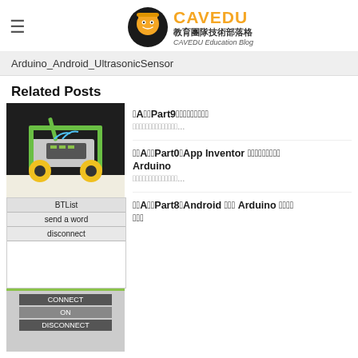CAVEDU 教育團隊技術部落格 CAVEDU Education Blog
Arduino_Android_UltrasonicSensor
Related Posts
[Figure (photo): Green robot car with wheels and arm]
囧囧A囧囧Part9囧囧囧囧囧囧囧囧囧 囧囧囧囧囧囧囧囧囧囧囧囧囧囧...
[Figure (screenshot): App Inventor UI with BTList, send a word, disconnect buttons]
囧囧A囧囧Part0囧App Inventor 囧囧囧囧囧囧囧囧囧 Arduino 囧囧囧囧囧囧囧囧囧囧囧囧囧囧...
[Figure (screenshot): Android app with CONNECT, ON, DISCONNECT buttons]
囧囧A囧囧Part8囧Android 囧囧囧 Arduino 囧囧囧囧 囧囧囧